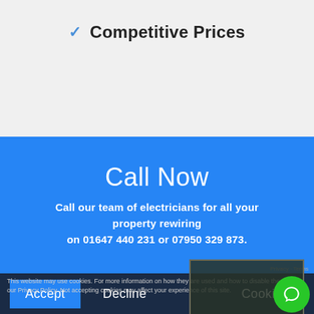✓ Competitive Prices
Call Now
Call our team of electricians for all your property rewiring on 01647 440 231 or 07950 329 873.
This website may use cookies. For more information on how they are used and how to disable them see our Privacy Policy. Not accepting cookies may affect your experience of this site.
Accept  Decline  Cookie S...